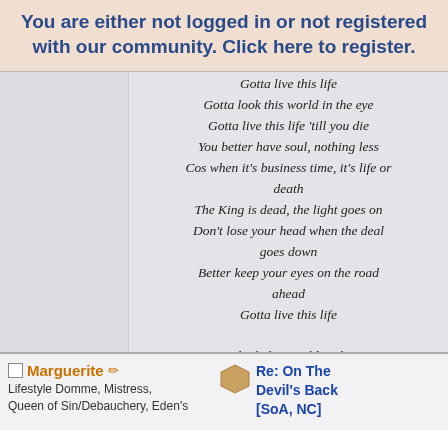You are either not logged in or not registered with our community. Click here to register.
Gotta live this life
Gotta look this world in the eye
Gotta live this life 'till you die
You better have soul, nothing less
Cos when it's business time, it's life or death
The King is dead, the light goes on
Don't lose your head when the deal goes down
Better keep your eyes on the road ahead
Gotta live this life

Gotta look this world in the eye
Gotta live this life until you die
« Last Edit: August 11, 2010, 03:19:56 pm by Marguerite »
Logged
Marguerite
Lifestyle Domme, Mistress, Queen of Sin/Debauchery, Eden's
Re: On The Devil's Back [SoA, NC]